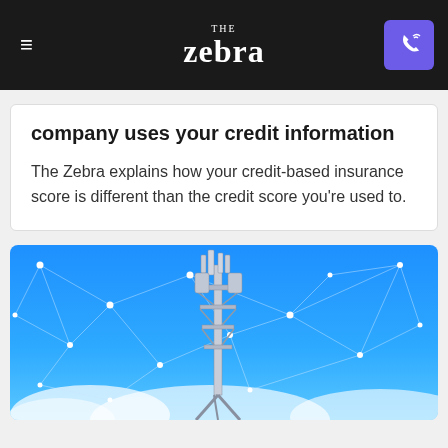The Zebra
company uses your credit information
The Zebra explains how your credit-based insurance score is different than the credit score you're used to.
[Figure (photo): A cell tower / telecommunications tower against a blue sky with a digital network connectivity overlay of glowing nodes and lines]